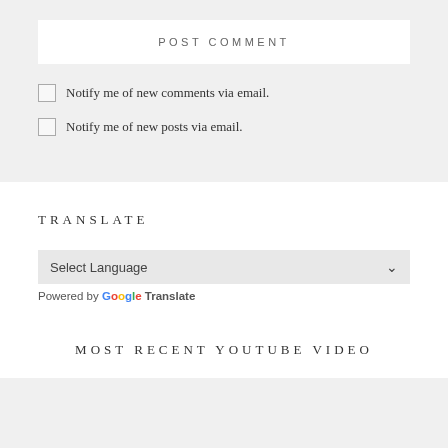POST COMMENT
Notify me of new comments via email.
Notify me of new posts via email.
TRANSLATE
Select Language
Powered by Google Translate
MOST RECENT YOUTUBE VIDEO